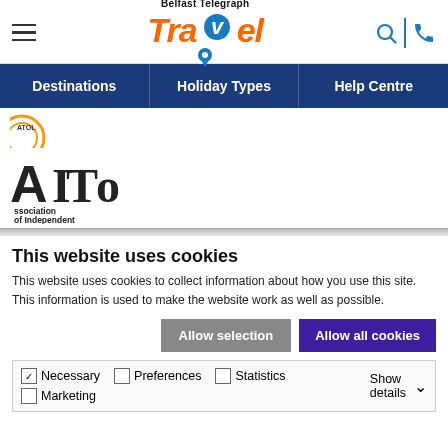[Figure (logo): Belfast Telegraph Travel logo with hamburger menu icon on the left and search/phone icons on the right]
Destinations  Holiday Types  Help Centre
[Figure (logo): Partial circular logo (ATOL or similar) partially visible]
[Figure (logo): AITO - Association of Independent Tour Operators logo]
This website uses cookies
This website uses cookies to collect information about how you use this site. This information is used to make the website work as well as possible.
Allow selection   Allow all cookies
Necessary   Preferences   Statistics   Marketing   Show details